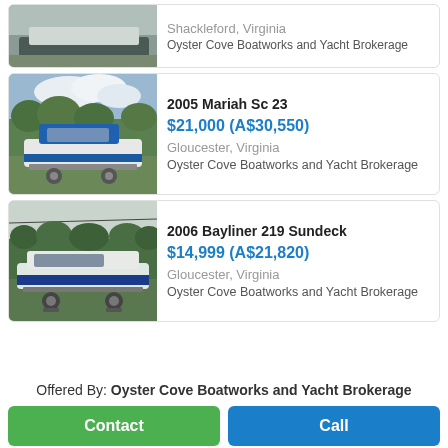[Figure (photo): Partial boat listing image - top of page, cropped boat photo]
Shackleford, Virginia
Oyster Cove Boatworks and Yacht Brokerage
[Figure (photo): 2005 Mariah Sc 23 boat on trailer, white and blue, parked on grass]
2005 Mariah Sc 23
$21,000 (A$30,550)
Gloucester, Virginia
Oyster Cove Boatworks and Yacht Brokerage
[Figure (photo): 2006 Bayliner 219 Sundeck boat on trailer, white and blue, parked on grass]
2006 Bayliner 219 Sundeck
$14,999 (A$21,820)
Gloucester, Virginia
Oyster Cove Boatworks and Yacht Brokerage
Offered By: Oyster Cove Boatworks and Yacht Brokerage